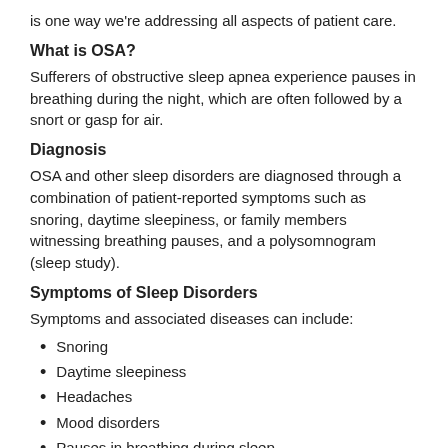is one way we're addressing all aspects of patient care.
What is OSA?
Sufferers of obstructive sleep apnea experience pauses in breathing during the night, which are often followed by a snort or gasp for air.
Diagnosis
OSA and other sleep disorders are diagnosed through a combination of patient-reported symptoms such as snoring, daytime sleepiness, or family members witnessing breathing pauses, and a polysomnogram (sleep study).
Symptoms of Sleep Disorders
Symptoms and associated diseases can include:
Snoring
Daytime sleepiness
Headaches
Mood disorders
Pauses in breathing during sleep